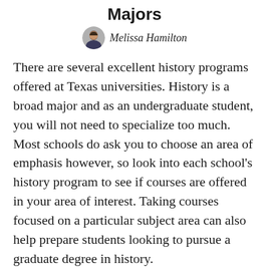Majors
Melissa Hamilton
There are several excellent history programs offered at Texas universities. History is a broad major and as an undergraduate student, you will not need to specialize too much. Most schools do ask you to choose an area of emphasis however, so look into each school's history program to see if courses are offered in your area of interest. Taking courses focused on a particular subject area can also help prepare students looking to pursue a graduate degree in history.